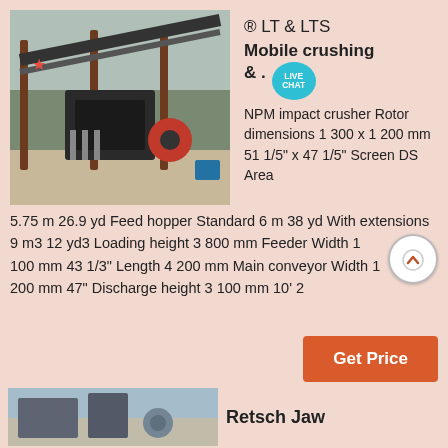[Figure (photo): Outdoor photograph of a large mobile impact crusher machine with metal framework, conveyor belts, and industrial components on a construction/mining site.]
® LT & LTS
Mobile crushing & .
NPM impact crusher Rotor dimensions 1 300 x 1 200 mm 51 1/5" x 47 1/5" Screen DS Area
5.75 m 26.9 yd Feed hopper Standard 6 m 38 yd With extensions 9 m3 12 yd3 Loading height 3 800 mm Feeder Width 1 100 mm 43 1/3" Length 4 200 mm Main conveyor Width 1 200 mm 47" Discharge height 3 100 mm 10' 2
Get Price
Retsch Jaw
[Figure (photo): Partial photograph at bottom of page showing industrial machinery on a site.]